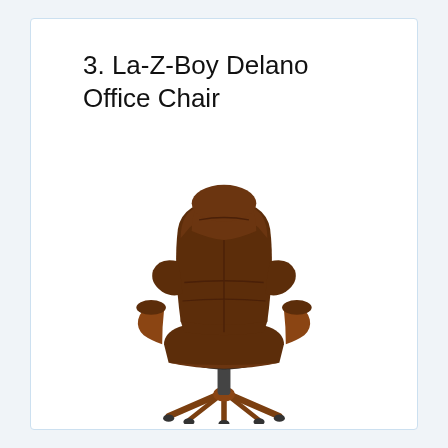3. La-Z-Boy Delano Office Chair
[Figure (photo): Front-facing photo of a La-Z-Boy Delano executive office chair upholstered in brown leather with padded armrests featuring wooden accents, a high back with lumbar support cushion, and a five-star wooden base with casters, set against a white background.]